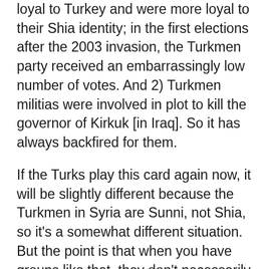loyal to Turkey and were more loyal to their Shia identity; in the first elections after the 2003 invasion, the Turkmen party received an embarrassingly low number of votes. And 2) Turkmen militias were involved in plot to kill the governor of Kirkuk [in Iraq]. So it has always backfired for them.
If the Turks play this card again now, it will be slightly different because the Turkmen in Syria are Sunni, not Shia, so it's a somewhat different situation. But the point is that when you have groups like that, they don't necessarily obey your rules, and they create problems for you down the road.
The Turks have always used the Turkmen, especially against the Kurds. They talk about Turkmen rights as a way of denigrating Kurdish rights, even though the